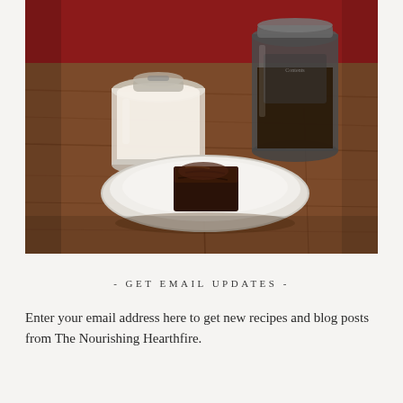[Figure (photo): Food photography showing a chocolate brownie on a white ceramic plate on a wooden table, with a glass jar of cream and a dark mason jar in the background against a red wall.]
- GET EMAIL UPDATES -
Enter your email address here to get new recipes and blog posts from The Nourishing Hearthfire.